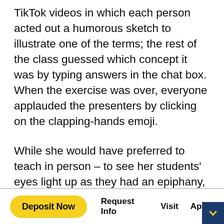TikTok videos in which each person acted out a humorous sketch to illustrate one of the terms; the rest of the class guessed which concept it was by typing answers in the chat box. When the exercise was over, everyone applauded the presenters by clicking on the clapping-hands emoji.
While she would have preferred to teach in person – to see her students' eyes light up as they had an epiphany, to feel the energy of shared discovery – Garza says meeting and presenting on Zoom has prepared students
Deposit Now   Request Info   Visit   Apply